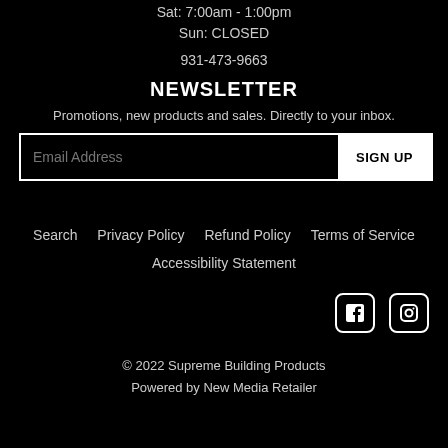Sat: 7:00am - 1:00pm
Sun: CLOSED
931-473-9663
NEWSLETTER
Promotions, new products and sales. Directly to your inbox.
Email Address  SIGN UP
Search  Privacy Policy  Refund Policy  Terms of Service  Accessibility Statement
[Figure (other): Facebook and Instagram social media icons]
© 2022 Supreme Building Products
Powered by New Media Retailer